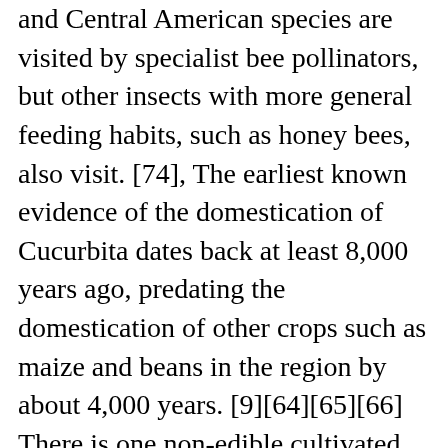and Central American species are visited by specialist bee pollinators, but other insects with more general feeding habits, such as honey bees, also visit. [74], The earliest known evidence of the domestication of Cucurbita dates back at least 8,000 years ago, predating the domestication of other crops such as maize and beans in the region by about 4,000 years. [9][64][65][66] There is one non-edible cultivated variety: C. pepo var. The whole vegetable is used to make curries, or it is sauteed. Male flowers in Cucurbitaceae generally have five stamens, but in Cucurbita there are only three, and their anthers are joined together so that there appears to be one. Chayote was one of the several foods introduced to the Old World during the Columbian Exchange. Water gently with a watering can or gentle spray of a hose immediately after planting. by Edrich